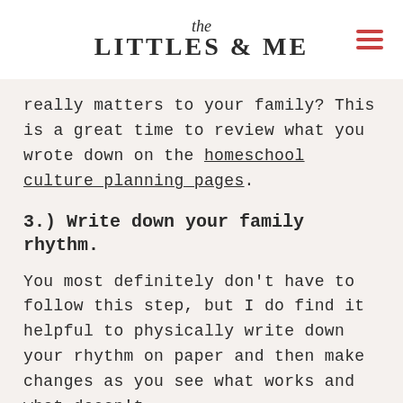the LITTLES & ME
really matters to your family? This is a great time to review what you wrote down on the homeschool culture planning pages.
3.) Write down your family rhythm.
You most definitely don't have to follow this step, but I do find it helpful to physically write down your rhythm on paper and then make changes as you see what works and what doesn't